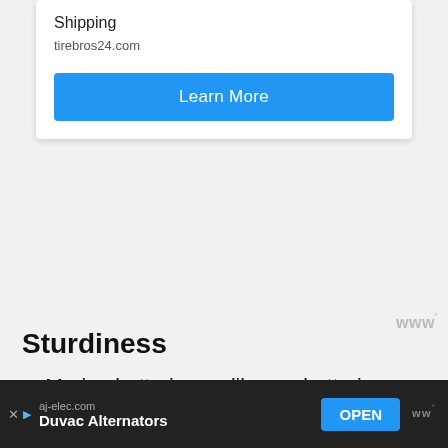Shipping
tirebros24.com
Learn More
[Figure (other): Watermark logo: stylized W with degree symbol, gray color]
Sturdiness
– Marine batteries, unlike car batteries, are more robust, stronger and durable to take a heavy beating on the waters and are designed to perform other diverse set of tasks. Cars are fitted with really good suspension to provide a relatively smooth ride, but boats are getting hammered and beaten down
[Figure (other): Advertisement bar: aj-elec.com, Duvac Alternators, OPEN button, close X and watermark icons]